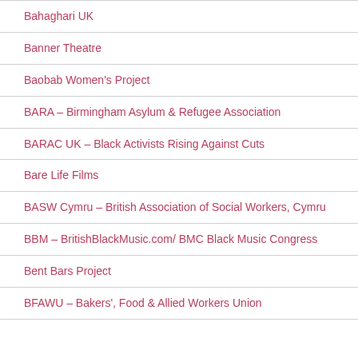Bahaghari UK
Banner Theatre
Baobab Women's Project
BARA – Birmingham Asylum & Refugee Association
BARAC UK – Black Activists Rising Against Cuts
Bare Life Films
BASW Cymru – British Association of Social Workers, Cymru
BBM – BritishBlackMusic.com/ BMC Black Music Congress
Bent Bars Project
BFAWU – Bakers', Food & Allied Workers Union